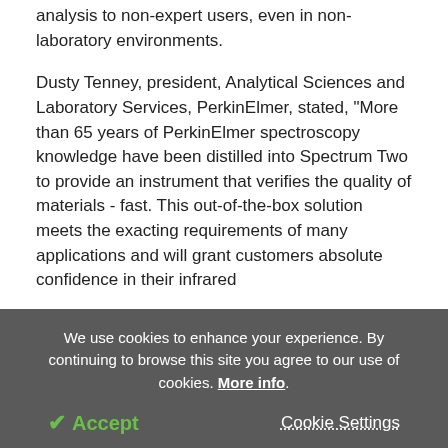analysis to non-expert users, even in non-laboratory environments.
Dusty Tenney, president, Analytical Sciences and Laboratory Services, PerkinElmer, stated, "More than 65 years of PerkinElmer spectroscopy knowledge have been distilled into Spectrum Two to provide an instrument that verifies the quality of materials - fast. This out-of-the-box solution meets the exacting requirements of many applications and will grant customers absolute confidence in their infrared
We use cookies to enhance your experience. By continuing to browse this site you agree to our use of cookies. More info.
✓ Accept   Cookie Settings